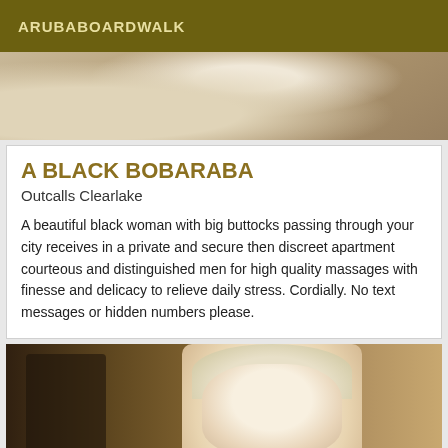ARUBABOARDWALK
[Figure (photo): Close-up photo of what appears to be a person's arm or body, blurred background]
A BLACK BOBARABA
Outcalls Clearlake
A beautiful black woman with big buttocks passing through your city receives in a private and secure then discreet apartment courteous and distinguished men for high quality massages with finesse and delicacy to relieve daily stress. Cordially. No text messages or hidden numbers please.
[Figure (photo): Photo of a smiling blonde woman in a room with bookshelves and warm-toned decor in the background]